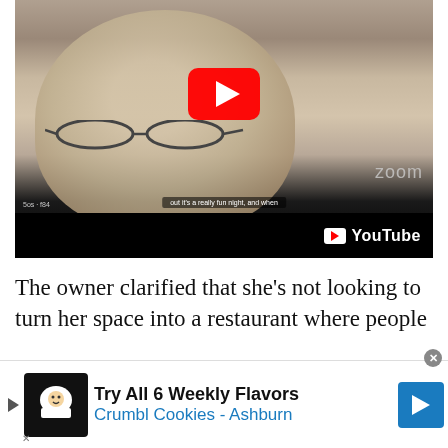[Figure (screenshot): YouTube video thumbnail showing an elderly man with white hair and glasses, in a Zoom call. A red YouTube play button is overlaid in the center. The bottom bar shows the YouTube logo. Subtitle text reads 'out it's a really fun night, and when'. The word 'zoom' appears as a watermark.]
The owner clarified that she's not looking to turn her space into a restaurant where people
[Figure (other): Advertisement banner: Try All 6 Weekly Flavors. Crumbl Cookies - Ashburn. Shows Crumbl Cookies logo icon on black background, with blue text for the subtitle and a blue navigation arrow button.]